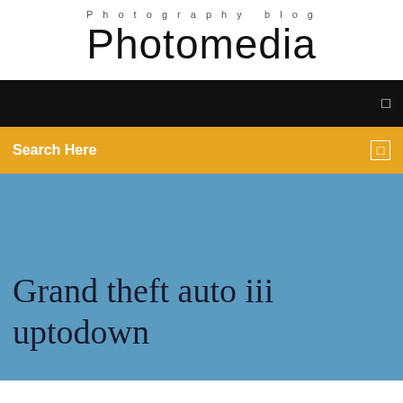Photography blog
Photomedia
Search Here
Grand theft auto iii uptodown